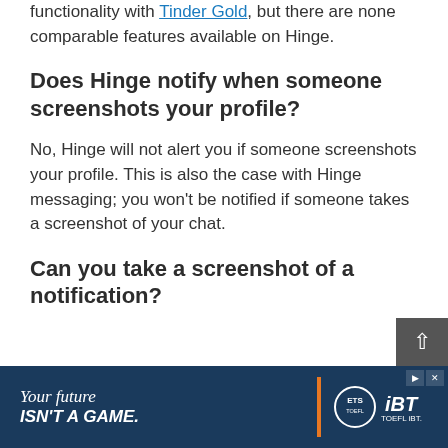functionality with Tinder Gold, but there are none comparable features available on Hinge.
Does Hinge notify when someone screenshots your profile?
No, Hinge will not alert you if someone screenshots your profile. This is also the case with Hinge messaging; you won't be notified if someone takes a screenshot of your chat.
Can you take a screenshot of a notification?
[Figure (screenshot): Advertisement banner for ETS TOEFL iBT with dark blue background, orange divider, text 'Your future ISN'T A GAME.' and ETS TOEFL iBT logo]